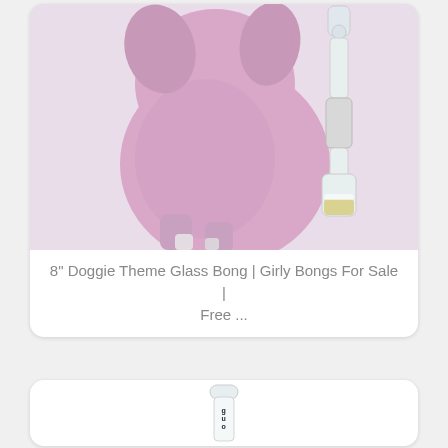[Figure (photo): Photo of a pink dog-shaped glass bong next to a clear glass accessory piece with yellow liquid, displayed against a light background.]
8" Doggie Theme Glass Bong | Girly Bongs For Sale | Free ...
[Figure (photo): Partial photo of a clear glass pipe or tube with black lettering/design, shown against a white background.]